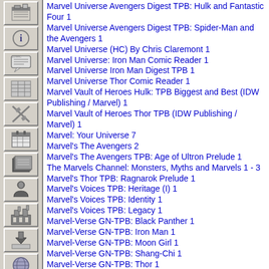Marvel Universe Avengers Digest TPB: Hulk and Fantastic Four 1
Marvel Universe Avengers Digest TPB: Spider-Man and the Avengers 1
Marvel Universe (HC) By Chris Claremont 1
Marvel Universe: Iron Man Comic Reader 1
Marvel Universe Iron Man Digest TPB 1
Marvel Universe Thor Comic Reader 1
Marvel Vault of Heroes Hulk: TPB Biggest and Best (IDW Publishing / Marvel) 1
Marvel Vault of Heroes Thor TPB (IDW Publishing / Marvel) 1
Marvel: Your Universe 7
Marvel's The Avengers 2
Marvel's The Avengers TPB: Age of Ultron Prelude 1
The Marvels Channel: Monsters, Myths and Marvels 1 - 3
Marvel's Thor TPB: Ragnarok Prelude 1
Marvel's Voices TPB: Heritage (I) 1
Marvel's Voices TPB: Identity 1
Marvel's Voices TPB: Legacy 1
Marvel-Verse GN-TPB: Black Panther 1
Marvel-Verse GN-TPB: Iron Man 1
Marvel-Verse GN-TPB: Moon Girl 1
Marvel-Verse GN-TPB: Shang-Chi 1
Marvel-Verse GN-TPB: Thor 1
Marvel-Verse GN-TPB: Venom 1
The Mighty Magnor (Malibu Comics) 4 - 6
Miles Morales GN-TPB: Great Responsibility 1
Miles Morales GN-TPB: Ultimate End 1